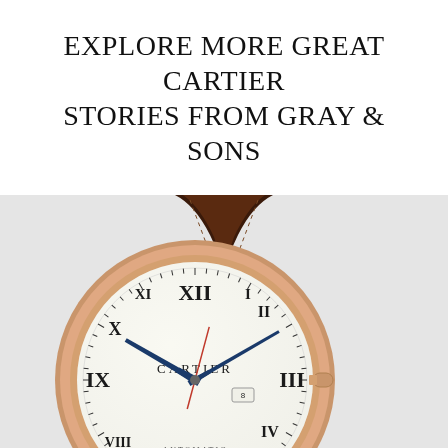EXPLORE MORE GREAT CARTIER STORIES FROM GRAY & SONS
[Figure (photo): A Cartier Ballon Bleu watch with rose gold case, dark brown alligator leather strap, white dial with Roman numerals, blue sword-shaped hands, and CARTIER and AUTOMATIC text on the dial, displayed on a light gray background.]